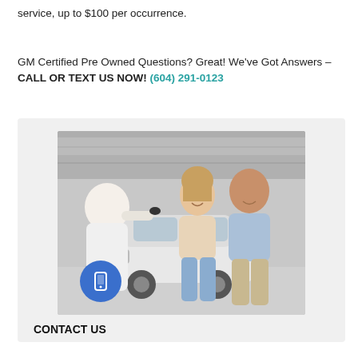service, up to $100 per occurrence.
GM Certified Pre Owned Questions? Great! We've Got Answers – CALL OR TEXT US NOW! (604) 291-0123
[Figure (photo): A couple smiling at a car dealership receiving car keys from a salesperson, with a white car in the background. A blue phone icon button overlays the bottom-left of the photo.]
CONTACT US